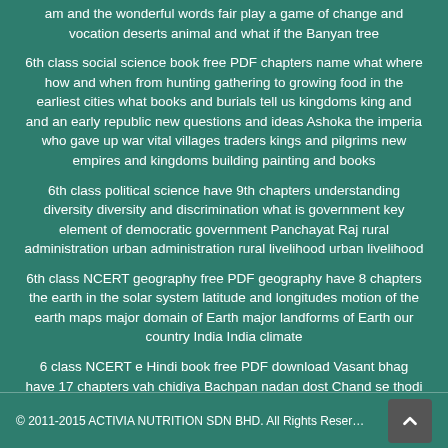am and the wonderful words fair play a game of change and vocation deserts animal and what if the Banyan tree
6th class social science book free PDF chapters name what where how and when from hunting gathering to growing food in the earliest cities what books and burials tell us kingdoms king and and an early republic new questions and ideas Ashoka the imperia who gave up war vital villages traders kings and pilgrims new empires and kingdoms building painting and books
6th class political science have 9th chapters understanding diversity diversity and discrimination what is government key element of democratic government Panchayat Raj rural administration urban administration rural livelihood urban livelihood
6th class NCERT geography free PDF geography have 8 chapters the earth in the solar system latitude and longitudes motion of the earth maps major domain of Earth major landforms of Earth our country India India climate
6 class NCERT e Hindi book free PDF download Vasant bhag have 17 chapters vah chidiya Bachpan nadan dost Chand se thodi si gappe aksharon ka mahatva paar Nazar ke Saathi haath badhana aise aise ticket album Jhansi ki Rani e Jo dekhkar bhi nahin dekhte sansar pustak hai main sabse chhoti hun lokgeet naukar Van ke Marg sans mein bans
© 2011-2015 ACTIVIA NUTRITION SDN BHD. All Rights Reserved.